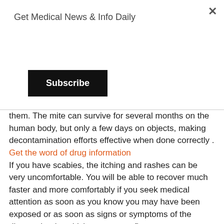Get Medical News & Info Daily
Subscribe
them. The mite can survive for several months on the human body, but only a few days on objects, making decontamination efforts effective when done correctly .
Get the word of drug information
If you have scabies, the itching and rashes can be very uncomfortable. You will be able to recover much faster and more comfortably if you seek medical attention as soon as you know you may have been exposed or as soon as signs or symptoms of the disease begin, whichever comes first.
Scabies can be stigmatized as many do not know exactly how it occurs. If this bothers you, it may help if you communicate in advance about your diagnosis and the people who may be affected by it, explain the steps you